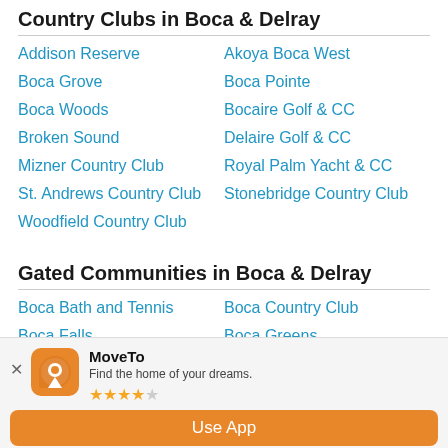Country Clubs in Boca & Delray
Addison Reserve
Akoya Boca West
Boca Grove
Boca Pointe
Boca Woods
Bocaire Golf & CC
Broken Sound
Delaire Golf & CC
Mizner Country Club
Royal Palm Yacht & CC
St. Andrews Country Club
Stonebridge Country Club
Woodfield Country Club
Gated Communities in Boca & Delray
Boca Bath and Tennis
Boca Country Club
Boca Falls
Boca Greens
MoveTo
Find the home of your dreams.
★★★★☆
Use App